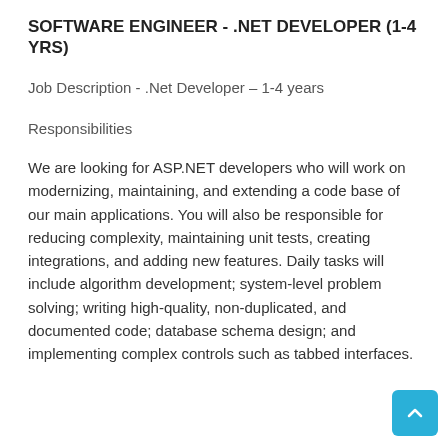SOFTWARE ENGINEER - .NET DEVELOPER (1-4 YRS)
Job Description - .Net Developer – 1-4 years
Responsibilities
We are looking for ASP.NET developers who will work on modernizing, maintaining, and extending a code base of our main applications. You will also be responsible for reducing complexity, maintaining unit tests, creating integrations, and adding new features. Daily tasks will include algorithm development; system-level problem solving; writing high-quality, non-duplicated, and documented code; database schema design; and implementing complex controls such as tabbed interfaces.